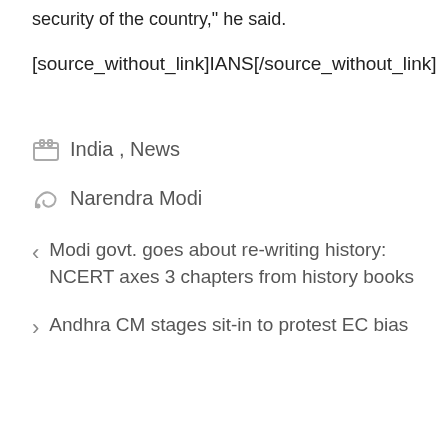security of the country," he said.
[source_without_link]IANS[/source_without_link]
India , News
Narendra Modi
< Modi govt. goes about re-writing history: NCERT axes 3 chapters from history books
> Andhra CM stages sit-in to protest EC bias